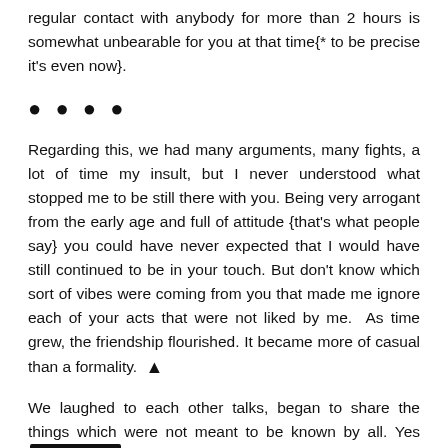regular contact with anybody for more than 2 hours is somewhat unbearable for you at that time{* to be precise it's even now}.
••••
Regarding this, we had many arguments, many fights, a lot of time my insult, but I never understood what stopped me to be still there with you. Being very arrogant from the early age and full of attitude {that's what people say} you could have never expected that I would have still continued to be in your touch. But don't know which sort of vibes were coming from you that made me ignore each of your acts that were not liked by me.  As time grew, the friendship flourished. It became more of casual than a formality. ▲
We laughed to each other talks, began to share the things which were not meant to be known by all. Yes [Follow us]